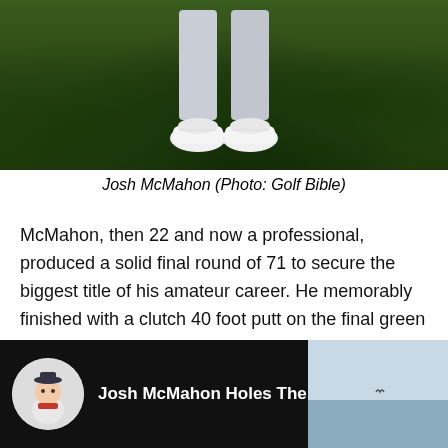[Figure (photo): Photo of Josh McMahon's lower body (legs and white golf shoes) standing on a golf course green]
Josh McMahon (Photo: Golf Bible)
McMahon, then 22 and now a professional, produced a solid final round of 71 to secure the biggest title of his amateur career. He memorably finished with a clutch 40 foot putt on the final green to set a 288 (+8) total which proved to be good enough.
[Figure (screenshot): YouTube video thumbnail showing Josh McMahon Holes The Winning ... with a channel avatar of a cartoon character in a sailor hat]